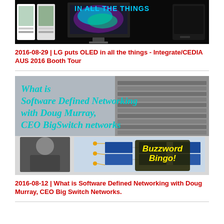[Figure (screenshot): Thumbnail image for LG OLED article - dark background with LG products and text 'IN ALL THE THINGS']
2016-08-29 | LG puts OLED in all the things - Integrate/CEDIA AUS 2016 Booth Tour
[Figure (screenshot): Thumbnail image for Software Defined Networking article - shows text 'What is Software Defined Networking with Doug Murray, CEO BigSwitch networks' with Buzzword Bingo overlay and network equipment images]
2016-08-12 | What is Software Defined Networking with Doug Murray, CEO Big Switch Networks.